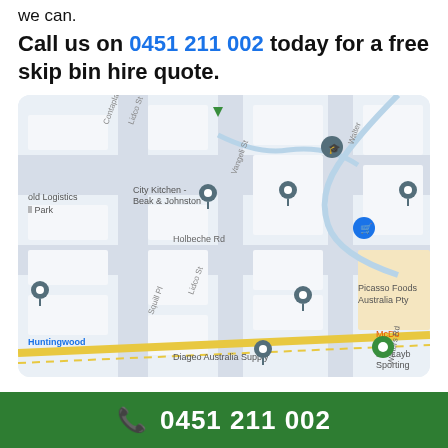we can.
Call us on 0451 211 002 today for a free skip bin hire quote.
[Figure (map): Google Maps screenshot showing area around Holbeche Rd, Huntingwood area in Australia. Visible landmarks include Jack Myers Field, Evans High School, City Kitchen - Beak & Johnston, ALDI, Picasso Foods Australia Pty, HE Layb Sporting, Diageo Australia Supply.]
0451 211 002